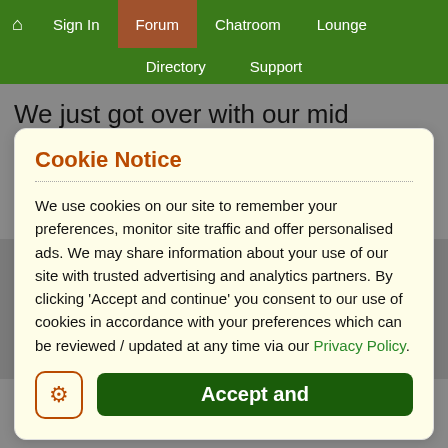🏠 Sign In | Forum | Chatroom | Lounge | Directory | Support
We just got over with our mid semester exams and things are bad ! I taught him during the exams and tried very hard but could not refrain
Cookie Notice
We use cookies on our site to remember your preferences, monitor site traffic and offer personalised ads. We may share information about your use of our site with trusted advertising and analytics partners. By clicking 'Accept and continue' you consent to our use of cookies in accordance with your preferences which can be reviewed / updated at any time via our Privacy Policy.
him stressed or sad apt anything. He is an idiot.